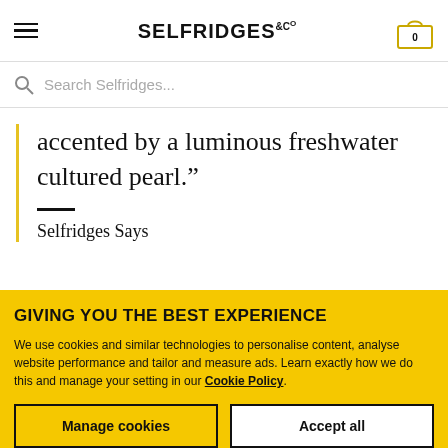SELFRIDGES &Co
Search Selfridges...
accented by a luminous freshwater cultured pearl.”
Selfridges Says
GIVING YOU THE BEST EXPERIENCE
We use cookies and similar technologies to personalise content, analyse website performance and tailor and measure ads. Learn exactly how we do this and manage your setting in our Cookie Policy.
Manage cookies
Accept all